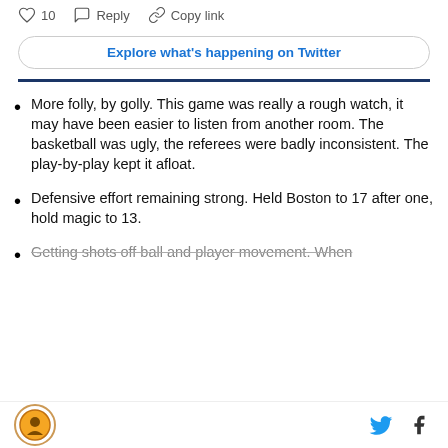[Figure (screenshot): Tweet action bar with heart icon (10 likes), reply icon, and copy link icon]
Explore what's happening on Twitter
More folly, by golly. This game was really a rough watch, it may have been easier to listen from another room. The basketball was ugly, the referees were badly inconsistent. The play-by-play kept it afloat.
Defensive effort remaining strong. Held Boston to 17 after one, hold magic to 13.
Getting shots off ball and player movement. When